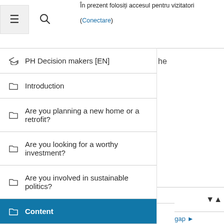În prezent folosiți accesul pentru vizitatori (Conectare)
🎓 PH Decision makers [EN]
📁 Introduction
📁 Are you planning a new home or a retrofit?
📁 Are you looking for a worthy investment?
📁 Are you involved in sustainable politics?
📁 Content
🏠 Acasă